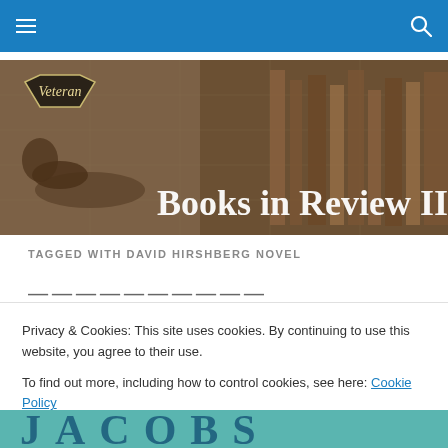Navigation bar with hamburger menu and search icon
[Figure (photo): Banner image showing a person reading, overlaid with bookshelf background and text 'Books in Review II', with a 'Veteran' logo badge in the upper left]
TAGGED WITH DAVID HIRSHBERG NOVEL
Privacy & Cookies: This site uses cookies. By continuing to use this website, you agree to their use.
To find out more, including how to control cookies, see here: Cookie Policy
Close and accept